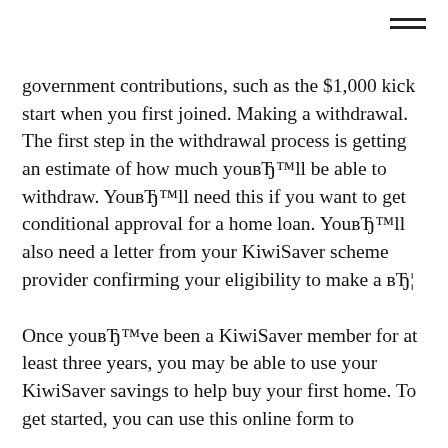≡
government contributions, such as the $1,000 kick start when you first joined. Making a withdrawal. The first step in the withdrawal process is getting an estimate of how much you'll be able to withdraw. You'll need this if you want to get conditional approval for a home loan. You'll also need a letter from your KiwiSaver scheme provider confirming your eligibility to make a вЂ¦
Once you've been a KiwiSaver member for at least three years, you may be able to use your KiwiSaver savings to help buy your first home. To get started, you can use this online form to